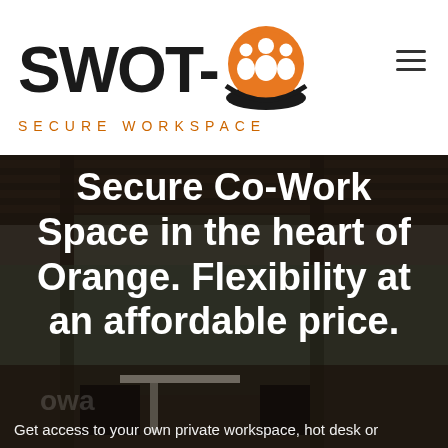[Figure (logo): SWOT-O Secure Workspace logo with orange people icon and black bold SWOT- text, subtitle SECURE WORKSPACE in orange tracking]
Secure Co-Work Space in the heart of Orange. Flexibility at an affordable price.
Get access to your own private workspace, hot desk or